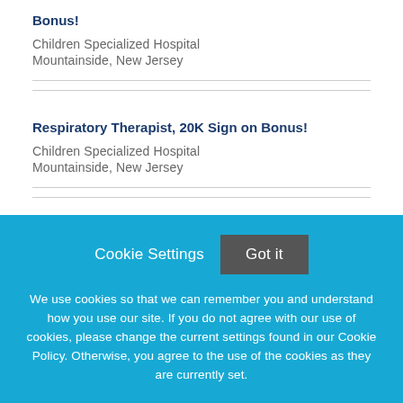Bonus!
Children Specialized Hospital
Mountainside, New Jersey
Respiratory Therapist, 20K Sign on Bonus!
Children Specialized Hospital
Mountainside, New Jersey
Cookie Settings  Got it
We use cookies so that we can remember you and understand how you use our site. If you do not agree with our use of cookies, please change the current settings found in our Cookie Policy. Otherwise, you agree to the use of the cookies as they are currently set.